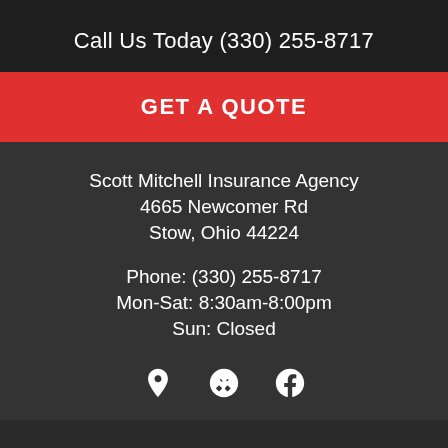Call Us Today (330) 255-8717
GET A QUOTE
Scott Mitchell Insurance Agency
4665 Newcomer Rd
Stow, Ohio 44224
Phone: (330) 255-8717
Mon-Sat: 8:30am-8:00pm
Sun: Closed
[Figure (infographic): Three social/contact icons: map pin (location), Yelp logo, and Facebook logo, displayed in a row]